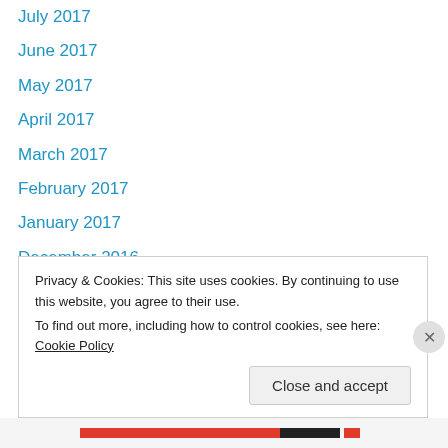July 2017
June 2017
May 2017
April 2017
March 2017
February 2017
January 2017
December 2016
November 2016
October 2016
September 2016
April 2016
January 2016
November 2015
Privacy & Cookies: This site uses cookies. By continuing to use this website, you agree to their use.
To find out more, including how to control cookies, see here: Cookie Policy